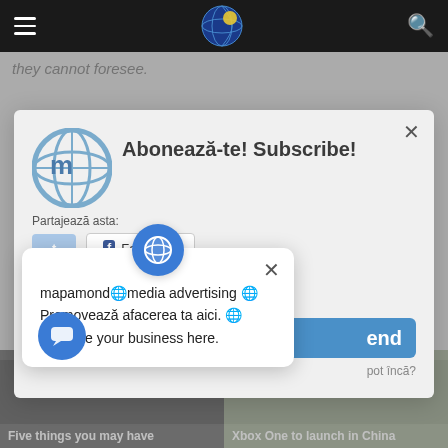mapamondmedia [globe icon] [hamburger] [search icon]
they cannot foresee.
[Figure (screenshot): Subscribe modal dialog with logo, title 'Abonează-te! Subscribe!', share section with Twitter and Facebook buttons]
mapamondmedia advertising
[Figure (screenshot): Notification popup with globe icon, close button, and text: mapamondmedia advertising 🌐 Promovează afacerea ta aici. 🌐 Promote your business here.]
Five things you may have
Xbox One to launch in China